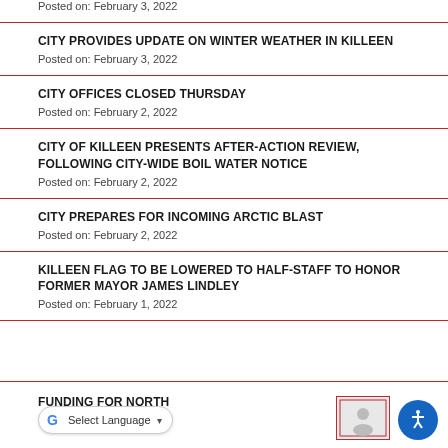Posted on: February 3, 2022
CITY PROVIDES UPDATE ON WINTER WEATHER IN KILLEEN
Posted on: February 3, 2022
CITY OFFICES CLOSED THURSDAY
Posted on: February 2, 2022
CITY OF KILLEEN PRESENTS AFTER-ACTION REVIEW, FOLLOWING CITY-WIDE BOIL WATER NOTICE
Posted on: February 2, 2022
CITY PREPARES FOR INCOMING ARCTIC BLAST
Posted on: February 2, 2022
KILLEEN FLAG TO BE LOWERED TO HALF-STAFF TO HONOR FORMER MAYOR JAMES LINDLEY
Posted on: February 1, 2022
FUNDING FOR NORTH